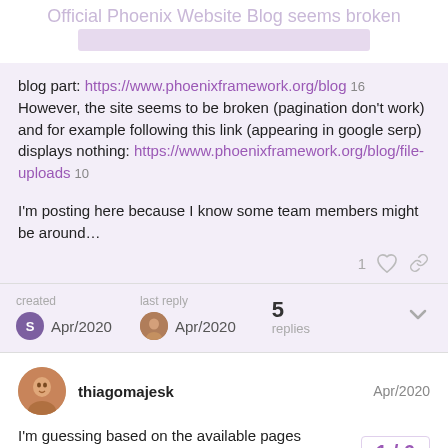Official Phoenix Website Blog seems broken
blog part: https://www.phoenixframework.org/blog 16
However, the site seems to be broken (pagination don't work) and for example following this link (appearing in google serp) displays nothing: https://www.phoenixframework.org/blog/file-uploads 10
I'm posting here because I know some team members might be around…
created Apr/2020   last reply Apr/2020   5 replies
thiagomajesk  Apr/2020
I'm guessing based on the available pages actually to link directly to the docs (except
1 / 6